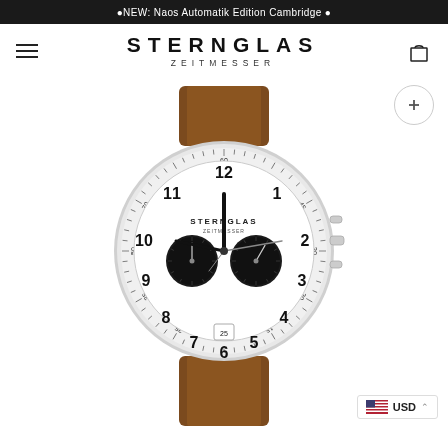🔴NEW: Naos Automatik Edition Cambridge 🔴
STERNGLAS ZEITMESSER
[Figure (photo): Sternglas chronograph watch with white dial, black subdials showing hour and minute counters, Arabic numerals 1-12, date window at 6 o'clock, tachymeter bezel, silver case, and brown leather strap.]
USD